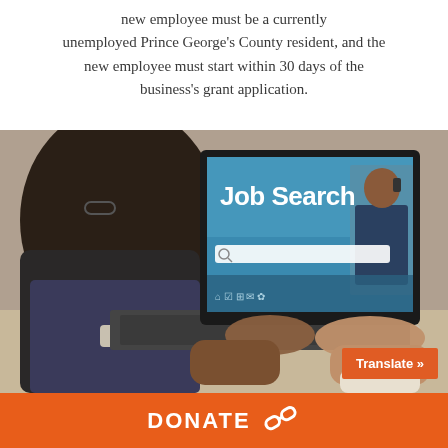new employee must be a currently unemployed Prince George's County resident, and the new employee must start within 30 days of the business's grant application.
[Figure (photo): Person typing on a laptop with a 'Job Search' screen displayed on the laptop monitor, showing a search bar and icons. A man in a suit is visible on the screen in the background.]
Translate »
DONATE